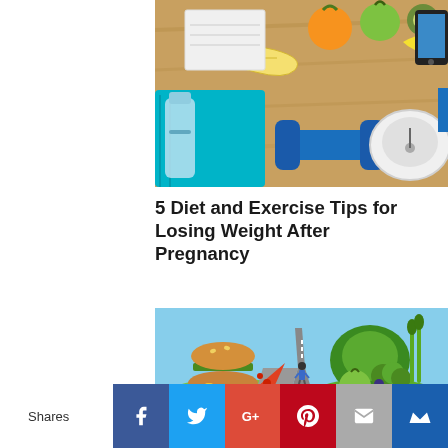[Figure (photo): Overhead view of fitness and healthy eating items on a wooden surface: dumbbells, water bottle, towel, measuring tape, notepad, fruits (orange, apple, kiwi, bananas), and a weighing scale.]
5 Diet and Exercise Tips for Losing Weight After Pregnancy
[Figure (photo): A fork in the road concept image showing unhealthy food (burger, pizza, fries) on the left path and healthy vegetables (broccoli, cabbage, green apple, asparagus) on the right path, with a small person standing at the crossroads.]
Shares  [Facebook] [Twitter] [Google+] [Pinterest] [Email] [Crown]